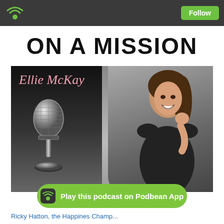Follow
[Figure (illustration): Podcast cover art for 'On A Mission' with Ellie McKay. Shows title text 'ON A MISSION' in large bold letters at top, Ellie McKay signature in pink script, a chrome vintage microphone on the left, and a smiling brunette woman in a black dress seated on the right, against a dark gradient background.]
ON A MISSION
Ellie McKay
Play this podcast on Podbean App
Ricky Hatton, the Happines Champ...